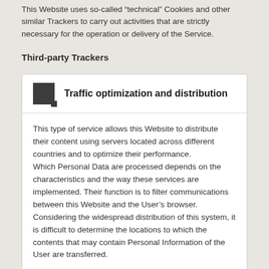This Website uses so-called “technical” Cookies and other similar Trackers to carry out activities that are strictly necessary for the operation or delivery of the Service.
Third-party Trackers
[Figure (other): Card with icon and title: Traffic optimization and distribution]
This type of service allows this Website to distribute their content using servers located across different countries and to optimize their performance. Which Personal Data are processed depends on the characteristics and the way these services are implemented. Their function is to filter communications between this Website and the User’s browser. Considering the widespread distribution of this system, it is difficult to determine the locations to which the contents that may contain Personal Information of the User are transferred.
Cloudflare (Cloudflare Inc.)
Cloudflare is a traffic optimization and distribution service provided by Cloudflare Inc.